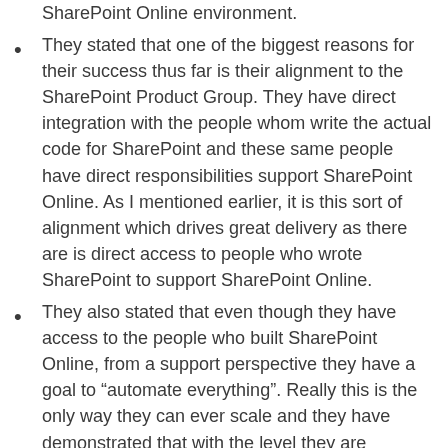SharePoint Online environment.
They stated that one of the biggest reasons for their success thus far is their alignment to the SharePoint Product Group. They have direct integration with the people whom write the actual code for SharePoint and these same people have direct responsibilities support SharePoint Online. As I mentioned earlier, it is this sort of alignment which drives great delivery as there are is direct access to people who wrote SharePoint to support SharePoint Online.
They also stated that even though they have access to the people who built SharePoint Online, from a support perspective they have a goal to “automate everything”. Really this is the only way they can ever scale and they have demonstrated that with the level they are currently delivering at.
They said stated they are doing close to 172 million probes per month to make there are no